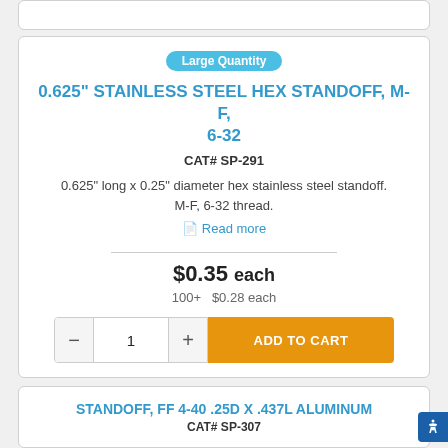Large Quantity
0.625" STAINLESS STEEL HEX STANDOFF, M-F, 6-32
CAT# SP-291
0.625" long x 0.25" diameter hex stainless steel standoff. M-F, 6-32 thread.
Read more
$0.35 each
100+  $0.28 each
STANDOFF, FF 4-40 .25D X .437L ALUMINUM
CAT# SP-307